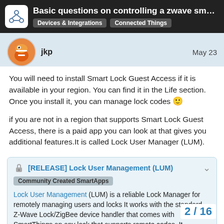Basic questions on controlling a zwave sma… | Devices & Integrations | Connected Things
jkp   May 23
You will need to install Smart Lock Guest Access if it is available in your region. You can find it in the Life section. Once you install it, you can manage lock codes 🙂

if you are not in a region that supports Smart Lock Guest Access, there is a paid app you can look at that gives you additional features.It is called Lock User Manager (LUM).
[RELEASE] Lock User Management (LUM)
Community Created SmartApps
Lock User Management (LUM) is a reliable Lock Manager for remotely managing users and locks It works with the standard Z-Wave Lock/ZigBee device handler that comes with SmartThings an any lock that supports remote codes. It
2 / 16